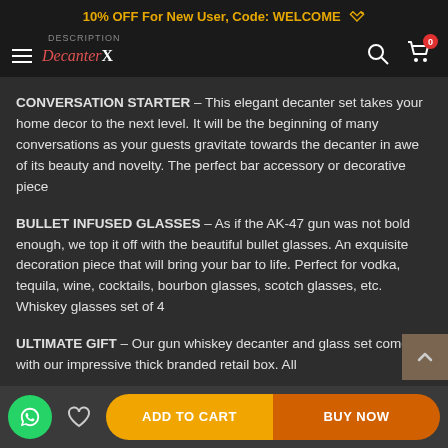10% OFF For New User, Code: WELCOME
[Figure (screenshot): Navigation bar with hamburger menu, DecanterX logo, search icon, and cart icon with 0 badge]
DESCRIPTION
CONVERSATION STARTER – This elegant decanter set takes your home decor to the next level. It will be the beginning of many conversations as your guests gravitate towards the decanter in awe of its beauty and novelty. The perfect bar accessory or decorative piece
BULLET INFUSED GLASSES – As if the AK-47 gun was not bold enough, we top it off with the beautiful bullet glasses. An exquisite decoration piece that will bring your bar to life. Perfect for vodka, tequila, wine, cocktails, bourbon glasses, scotch glasses, etc. Whiskey glasses set of 4
ULTIMATE GIFT – Our gun whiskey decanter and glass set comes with our impressive thick branded retail box. All
ADD TO CART   BUY NOW